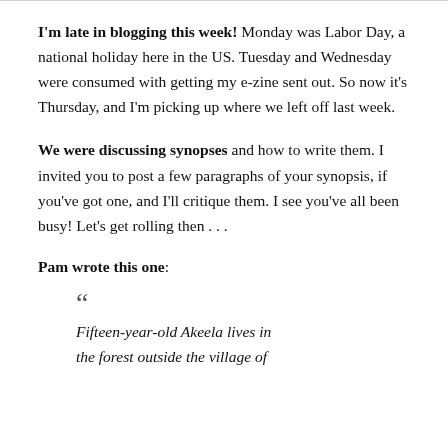I'm late in blogging this week! Monday was Labor Day, a national holiday here in the US. Tuesday and Wednesday were consumed with getting my e-zine sent out. So now it's Thursday, and I'm picking up where we left off last week.
We were discussing synopses and how to write them. I invited you to post a few paragraphs of your synopsis, if you've got one, and I'll critique them. I see you've all been busy! Let's get rolling then . . .
Pam wrote this one:
Fifteen-year-old Akeela lives in the forest outside the village of